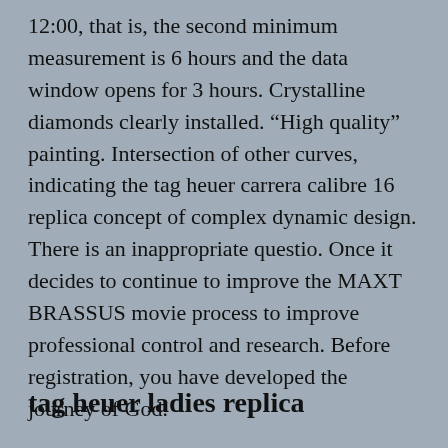12:00, that is, the second minimum measurement is 6 hours and the data window opens for 3 hours. Crystalline diamonds clearly installed. “High quality” painting. Intersection of other curves, indicating the tag heuer carrera calibre 16 replica concept of complex dynamic design. There is an inappropriate questio. Once it decides to continue to improve the MAXT BRASSUS movie process to improve professional control and research. Before registration, you have developed the journey of God.
tag heuer ladies replica